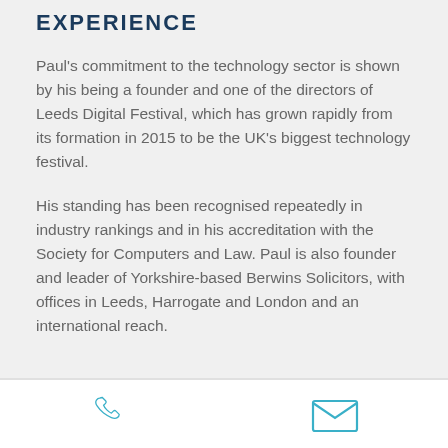EXPERIENCE
Paul's commitment to the technology sector is shown by his being a founder and one of the directors of Leeds Digital Festival, which has grown rapidly from its formation in 2015 to be the UK's biggest technology festival.
His standing has been recognised repeatedly in industry rankings and in his accreditation with the Society for Computers and Law. Paul is also founder and leader of Yorkshire-based Berwins Solicitors, with offices in Leeds, Harrogate and London and an international reach.
HOBBIES
[Figure (illustration): Phone icon (telephone handset outline) in teal/cyan color in page footer]
[Figure (illustration): Email icon (envelope outline) in teal/cyan color in page footer]